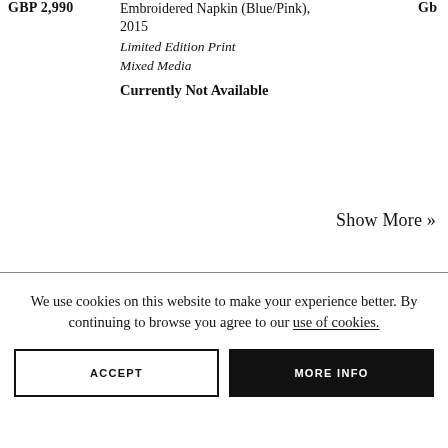GBP 2,990
Embroidered Napkin (Blue/Pink), 2015
Limited Edition Print
Mixed Media
Currently Not Available
Gb
Show More »
We use cookies on this website to make your experience better. By continuing to browse you agree to our use of cookies.
ACCEPT
MORE INFO